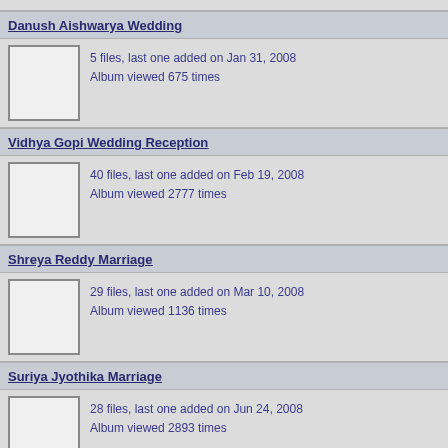Danush Aishwarya Wedding
5 files, last one added on Jan 31, 2008
Album viewed 675 times
Vidhya Gopi Wedding Reception
40 files, last one added on Feb 19, 2008
Album viewed 2777 times
Shreya Reddy Marriage
29 files, last one added on Mar 10, 2008
Album viewed 1136 times
Suriya Jyothika Marriage
28 files, last one added on Jun 24, 2008
Album viewed 2893 times
Malavika Sumesh Marriage
21 files, last one added on Jun 27, 2008
Album viewed 1181 times
Gopika Engagement